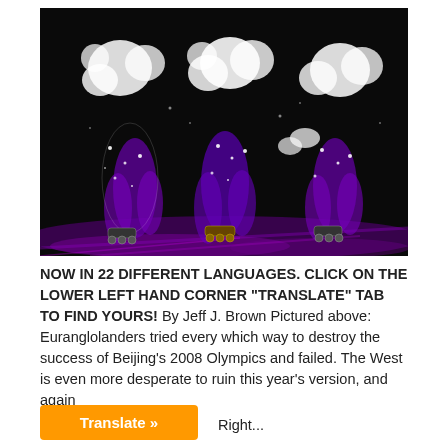[Figure (photo): Performers in glowing white and purple LED-lit costumes skating on rollerblades against a dark background, likely from the 2008 Beijing Olympics opening ceremony.]
NOW IN 22 DIFFERENT LANGUAGES. CLICK ON THE LOWER LEFT HAND CORNER "TRANSLATE" TAB TO FIND YOURS! By Jeff J. Brown Pictured above: Euranglolanders tried every which way to destroy the success of Beijing's 2008 Olympics and failed. The West is even more desperate to ruin this year's version, and again
Right...